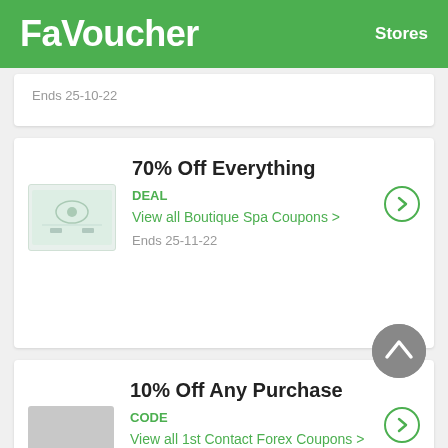FaVoucher   Stores
Ends 25-10-22
70% Off Everything
DEAL
View all Boutique Spa Coupons >
Ends 25-11-22
10% Off Any Purchase
CODE
View all 1st Contact Forex Coupons >
Ends 26-10-22